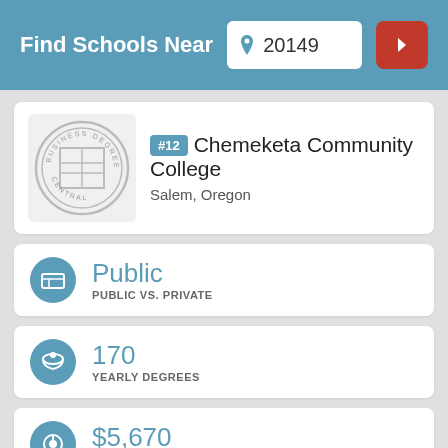Find Schools Near 20149
#12 Chemeketa Community College
Salem, Oregon
Public
PUBLIC VS. PRIVATE
170
YEARLY DEGREES
$5,670
YEARLY TUITION & FEES (IN-STATE